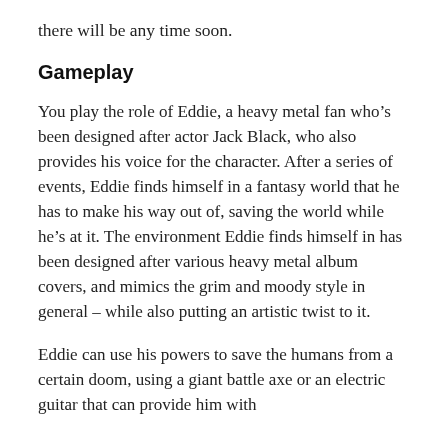there will be any time soon.
Gameplay
You play the role of Eddie, a heavy metal fan who’s been designed after actor Jack Black, who also provides his voice for the character. After a series of events, Eddie finds himself in a fantasy world that he has to make his way out of, saving the world while he’s at it. The environment Eddie finds himself in has been designed after various heavy metal album covers, and mimics the grim and moody style in general – while also putting an artistic twist to it.
Eddie can use his powers to save the humans from a certain doom, using a giant battle axe or an electric guitar that can provide him with